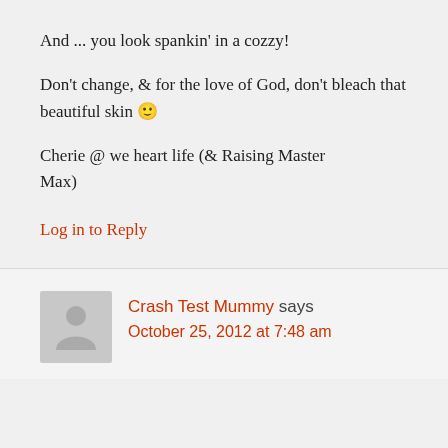And ... you look spankin' in a cozzy!
Don't change, & for the love of God, don't bleach that beautiful skin 🙂
Cherie @ we heart life (& Raising Master Max)
Log in to Reply
Crash Test Mummy says
October 25, 2012 at 7:48 am